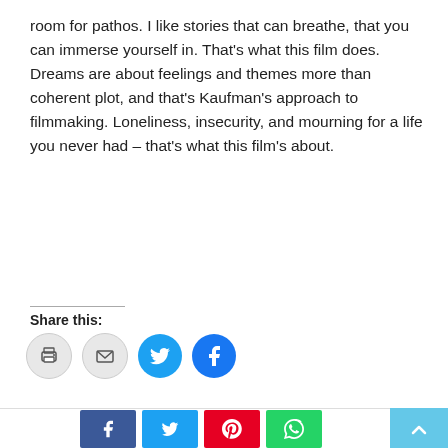room for pathos. I like stories that can breathe, that you can immerse yourself in. That's what this film does. Dreams are about feelings and themes more than coherent plot, and that's Kaufman's approach to filmmaking. Loneliness, insecurity, and mourning for a life you never had – that's what this film's about.
[Figure (infographic): Share this: section with print, email, Twitter, and Facebook circular icon buttons, followed by a horizontal divider and a row of rectangular social share buttons (Facebook, Twitter, Pinterest, WhatsApp) and a scroll-to-top button.]